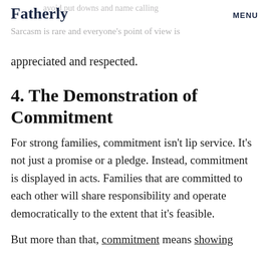Fatherly | avoid put downs and name calling MENU | Sarcasm is rare and everyone's point of view is appreciated and respected.
appreciated and respected.
4. The Demonstration of Commitment
For strong families, commitment isn't lip service. It's not just a promise or a pledge. Instead, commitment is displayed in acts. Families that are committed to each other will share responsibility and operate democratically to the extent that it's feasible.
But more than that, commitment means showing